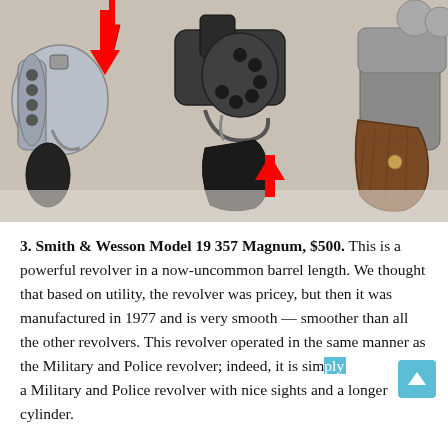[Figure (photo): Close-up photo of three revolvers laid side by side on a light background. Two red arrows point to specific parts of the revolvers — one pointing down to the left revolver's cylinder release or latch area, and one pointing up to the middle revolver's trigger guard or cylinder area. The revolvers include a chrome/stainless finish revolver on the left, a blued steel snub-nose revolver in the center, and a revolver with a wood grip on the right.]
3. Smith & Wesson Model 19 357 Magnum, $500. This is a powerful revolver in a now-uncommon barrel length. We thought that based on utility, the revolver was pricey, but then it was manufactured in 1977 and is very smooth — smoother than all the other revolvers. This revolver operated in the same manner as the Military and Police revolver; indeed, it is simply a Military and Police revolver with nice sights and a longer cylinder.